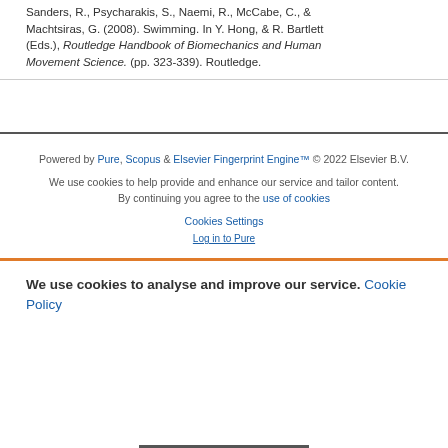Sanders, R., Psycharakis, S., Naemi, R., McCabe, C., & Machtsiras, G. (2008). Swimming. In Y. Hong, & R. Bartlett (Eds.), Routledge Handbook of Biomechanics and Human Movement Science. (pp. 323-339). Routledge.
Powered by Pure, Scopus & Elsevier Fingerprint Engine™ © 2022 Elsevier B.V.
We use cookies to help provide and enhance our service and tailor content. By continuing you agree to the use of cookies
Cookies Settings
We use cookies to analyse and improve our service. Cookie Policy